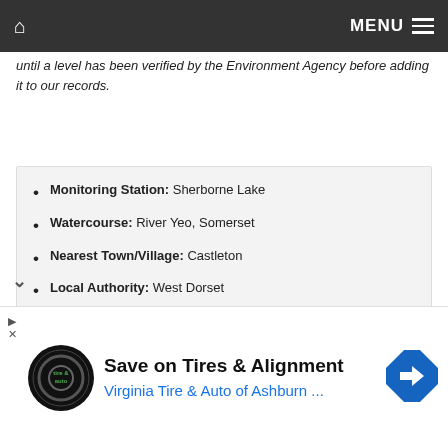MENU
until a level has been verified by the Environment Agency before adding it to our records.
Monitoring Station: Sherborne Lake
Watercourse: River Yeo, Somerset
Nearest Town/Village: Castleton
Local Authority: West Dorset
Ceremonial County: Dorset
Coordinates: 50°56'52"N 2°30'11"W (50.947873,-2.503101)
OS Grid: ST647166 (364753,116614)
[Figure (infographic): Advertisement: Save on Tires & Alignment — Virginia Tire & Auto of Ashburn]